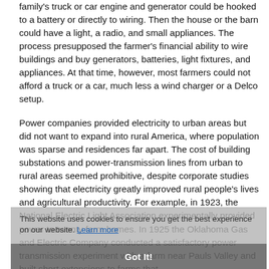family's truck or car engine and generator could be hooked to a battery or directly to wiring. Then the house or the barn could have a light, a radio, and small appliances. The process presupposed the farmer's financial ability to wire buildings and buy generators, batteries, light fixtures, and appliances. At that time, however, most farmers could not afford a truck or a car, much less a wind charger or a Delco setup.
Power companies provided electricity to urban areas but did not want to expand into rural America, where population was sparse and residences far apart. The cost of building substations and power-transmission lines from urban to rural areas seemed prohibitive, despite corporate studies showing that electricity greatly improved rural people's lives and agricultural productivity. For example, in 1923, the National Electric Light Association experimentally provided power to twenty farm homes. In 1925 the Oklahoma Gas and Electric Company conducted a satisfactory power transmission experiment with a farm near Pauls Valley and built short extensions to farms that
This website uses cookies to ensure you get the best experience on our website. Learn more
Got It!